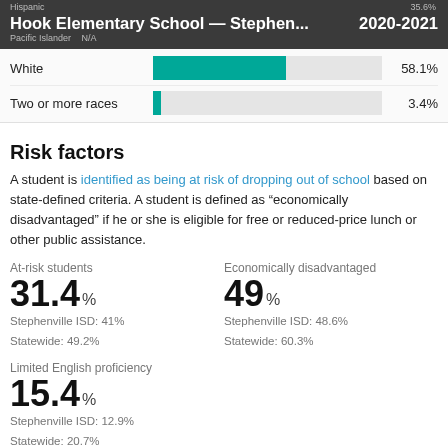Hook Elementary School — Stephen... 2020-2021
[Figure (bar-chart): Race/Ethnicity enrollment percentages]
Risk factors
A student is identified as being at risk of dropping out of school based on state-defined criteria. A student is defined as "economically disadvantaged" if he or she is eligible for free or reduced-price lunch or other public assistance.
At-risk students
31.4%
Stephenville ISD: 41%
Statewide: 49.2%
Economically disadvantaged
49%
Stephenville ISD: 48.6%
Statewide: 60.3%
Limited English proficiency
15.4%
Stephenville ISD: 12.9%
Statewide: 20.7%